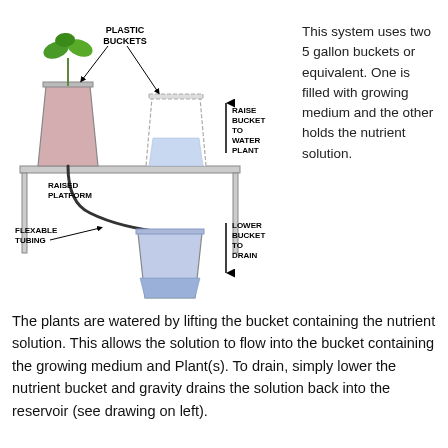[Figure (schematic): Diagram of a two-bucket hydroponic system showing a raised platform with a plant bucket (filled with growing medium and a plant) on top, connected by flexible tubing to a water/nutrient solution bucket. Labels indicate: PLASTIC BUCKETS, RAISED PLATFORM, FLEXABLE TUBING, RAISE BUCKET TO WATER PLANT, LOWER BUCKET TO DRAIN.]
This system uses two 5 gallon buckets or equivalent. One is filled with growing medium and the other holds the nutrient solution.
The plants are watered by lifting the bucket containing the nutrient solution. This allows the solution to flow into the bucket containing the growing medium and Plant(s). To drain, simply lower the nutrient bucket and gravity drains the solution back into the reservoir (see drawing on left).